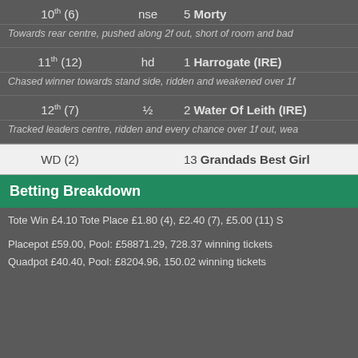10th (6)  nse  5 Morty
Towards rear centre, pushed along 2f out, short of room and bad
11th (12)  hd  1 Harrogate (IRE)
Chased winner towards stand side, ridden and weakened over 1f
12th (7)  ½  2 Water Of Leith (IRE)
Tracked leaders centre, ridden and every chance over 1f out, wea
WD (2)  13 Grandads Best Girl
Betting Breakdown
Tote Win £4.10 Tote Place £1.80 (4), £2.40 (7), £5.00 (11) S
Placepot £59.00, Pool: £58871.29, 728.37 winning tickets
Quadpot £40.40, Pool: £8204.96, 150.02 winning tickets